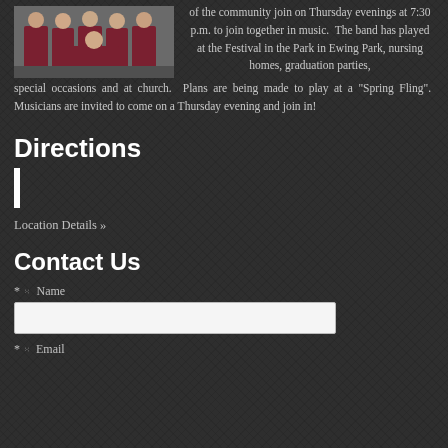[Figure (photo): Group photo of people in maroon/dark red polo shirts, seated and standing outdoors]
of the community join on Thursday evenings at 7:30 p.m. to join together in music. The band has played at the Festival in the Park in Ewing Park, nursing homes, graduation parties, special occasions and at church. Plans are being made to play at a "Spring Fling". Musicians are invited to come on a Thursday evening and join in!
Directions
Location Details »
Contact Us
* Name
* Email